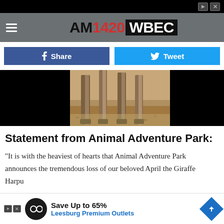AM1420 WBEC
Share
Tweet
[Figure (photo): Close-up photo of giraffe legs standing on sandy ground]
Statement from Animal Adventure Park:
"It is with the heaviest of hearts that Animal Adventure Park announces the tremendous loss of our beloved April the Giraffe
[Figure (other): Advertisement banner: Save Up to 65% Leesburg Premium Outlets]